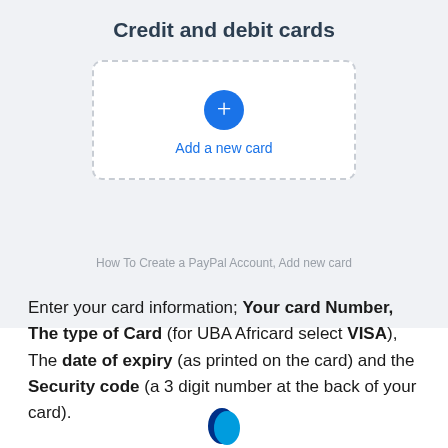[Figure (screenshot): PayPal 'Credit and debit cards' screen with a dashed-border card-add box containing a blue plus-circle button and 'Add a new card' link text]
How To Create a PayPal Account, Add new card
Enter your card information; Your card Number, The type of Card (for UBA Africard select VISA), The date of expiry (as printed on the card) and the Security code (a 3 digit number at the back of your card).
[Figure (logo): PayPal logo partially visible at bottom of page]